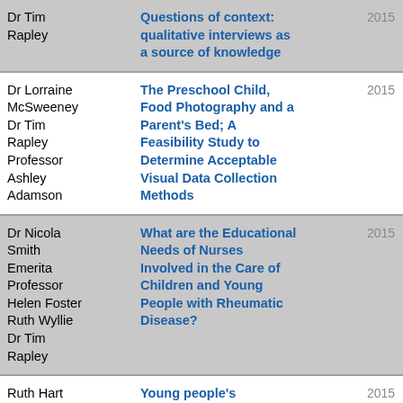| Author | Title | Year |  |
| --- | --- | --- | --- |
| Dr Tim Rapley | Questions of context: qualitative interviews as a source of knowledge | 2015 | open-access |
| Dr Lorraine McSweeney Dr Tim Rapley Professor Ashley Adamson | The Preschool Child, Food Photography and a Parent's Bed; A Feasibility Study to Determine Acceptable Visual Data Collection Methods | 2015 | open-access |
| Dr Nicola Smith Emerita Professor Helen Foster Ruth Wyllie Dr Tim Rapley | What are the Educational Needs of Nurses Involved in the Care of Children and Young People with Rheumatic Disease? | 2015 |  |
| Ruth Hart | Young people's | 2015 | open-access |